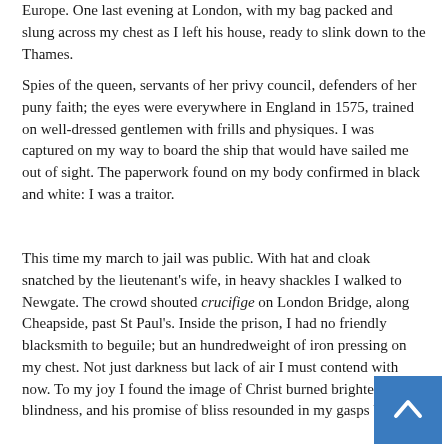Europe. One last evening in London, with my bag packed and slung across my chest as I left his house, ready to slink down to the Thames.
Spies of the queen, servants of her privy council, defenders of her puny faith; the eyes were everywhere in England in 1575, trained on well-dressed gentlemen with frills and physiques. I was captured on my way to board the ship that would have sailed me out of sight. The paperwork found on my body confirmed in black and white: I was a traitor.
This time my march to jail was public. With hat and cloak snatched by the lieutenant's wife, in heavy shackles I walked to Newgate. The crowd shouted crucifige on London Bridge, along Cheapside, past St Paul's. Inside the prison, I had no friendly blacksmith to beguile; but an hundredweight of iron pressing on my chest. Not just darkness but lack of air I must contend with now. To my joy I found the image of Christ burned brighter in my blindness, and his promise of bliss resounded in my gasps breath.